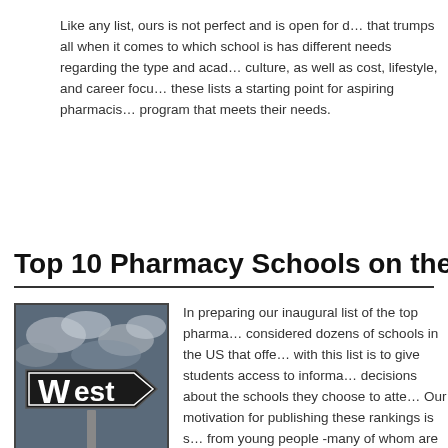Like any list, ours is not perfect and is open for debate. There is no single factor that trumps all when it comes to which school is best. Each student has different needs regarding the type and academic culture, as well as cost, lifestyle, and career focus. We hope these lists a starting point for aspiring pharmacists to find the program that meets their needs.
Top 10 Pharmacy Schools on the West C...
[Figure (photo): A road sign reading 'West' against a cloudy sky background, black and white sign on a metal pole.]
In preparing our inaugural list of the top pharma... considered dozens of schools in the US that offe... with this list is to give students access to informa... decisions about the schools they choose to atte... Our motivation for publishing these rankings is s... from young people -many of whom are already w... asking for advice as to which pharmacy school...